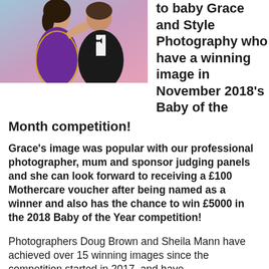[Figure (photo): A man and woman posing together at a formal event. The woman is wearing a purple sari and the man is in a black tuxedo. Colorful blurred background.]
to baby Grace and Style Photography who have a winning image in November 2018's Baby of the Month competition!
Grace's image was popular with our professional photographer, mum and sponsor judging panels and she can look forward to receiving a £100 Mothercare voucher after being named as a winner and also has the chance to win £5000 in the 2018 Baby of the Year competition!
Photographers Doug Brown and Sheila Mann have achieved over 15 winning images since the competition started in 2017, and have